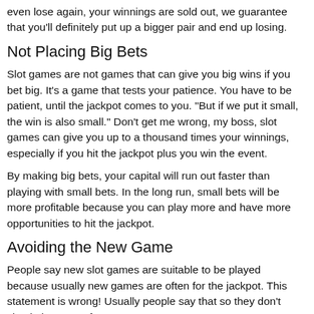even lose again, your winnings are sold out, we guarantee that you'll definitely put up a bigger pair and end up losing.
Not Placing Big Bets
Slot games are not games that can give you big wins if you bet big. It's a game that tests your patience. You have to be patient, until the jackpot comes to you. "But if we put it small, the win is also small." Don't get me wrong, my boss, slot games can give you up to a thousand times your winnings, especially if you hit the jackpot plus you win the event.
By making big bets, your capital will run out faster than playing with small bets. In the long run, small bets will be more profitable because you can play more and have more opportunities to hit the jackpot.
Avoiding the New Game
People say new slot games are suitable to be played because usually new games are often for the jackpot. This statement is wrong! Usually people say that so they don't check the state of